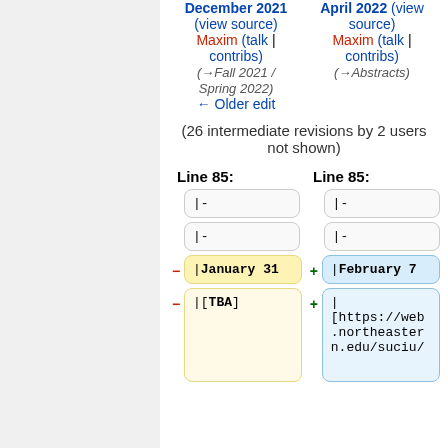December 2021 (view source)
Maxim (talk | contribs)
(→Fall 2021 / Spring 2022)
← Older edit
April 2022 (view source)
Maxim (talk | contribs)
(→Abstracts)
(26 intermediate revisions by 2 users not shown)
Line 85:
Line 85:
|-
|-
|-
|-
|January 31
|February 7
|[TBA]
|
[https://web.northeastern.edu/suciu/